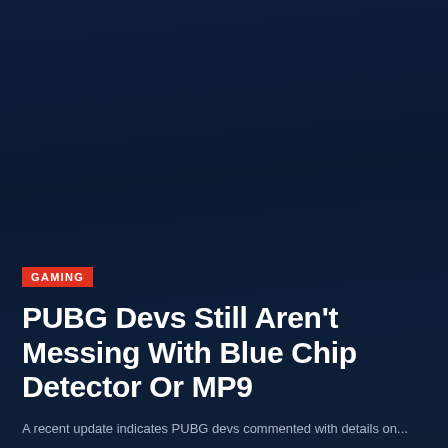[Figure (screenshot): Dark navy blue background image filling most of the page, representing a PUBG game screenshot or promotional image with a dark, muted blue gradient.]
GAMING
PUBG Devs Still Aren't Messing With Blue Chip Detector Or MP9
A excerpt indicating PUBG devs comment on...